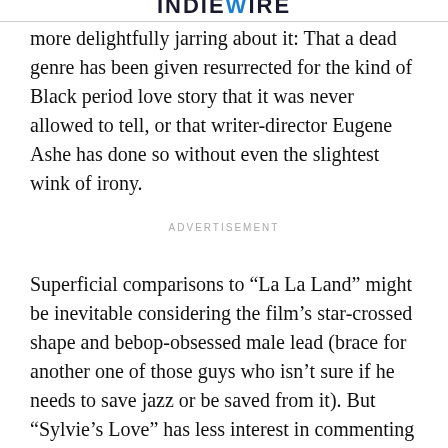IndieWire
more delightfully jarring about it: That a dead genre has been given resurrected for the kind of Black period love story that it was never allowed to tell, or that writer-director Eugene Ashe has done so without even the slightest wink of irony.
ADVERTISEMENT
Superficial comparisons to “La La Land” might be inevitable considering the film’s star-crossed shape and bebop-obsessed male lead (brace for another one of those guys who isn’t sure if he needs to save jazz or be saved from it). But “Sylvie’s Love” has less interest in commenting on the Technicolor romances that Hollywood made in the 1950s than it does in being one of them. By that same token, the unreality of Ashe’s gauzy backlot